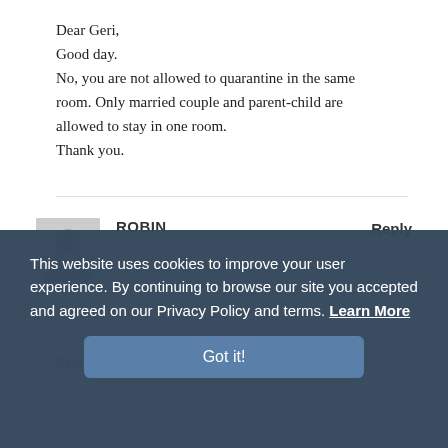Dear Geri,
Good day.
No, you are not allowed to quarantine in the same room. Only married couple and parent-child are allowed to stay in one room.
Thank you.
ROBIN
January 31, 2021
Reply
This website uses cookies to improve your user experience. By continuing to browse our site you accepted and agreed on our Privacy Policy and terms. Learn More
Got it!
Best regards,